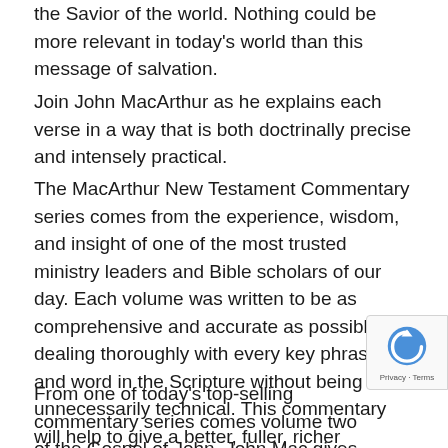the Savior of the world.  Nothing could be more relevant in today's world than this message of salvation.
Join John MacArthur as he explains each verse in a way that is both doctrinally precise and intensely practical.
The MacArthur New Testament Commentary series comes from the experience, wisdom, and insight of one of the most trusted ministry leaders and Bible scholars of our day.  Each volume was written to be as comprehensive and accurate as possible, dealing thoroughly with every key phrase and word in the Scripture without being unnecessarily technical.  This commentary will help to give a better, fuller, richer understanding of God's Word, while challenging the reader to a vibrant personal spiritual walk.
From one of today's top-selling commentary series comes volume two of the Gospel of John. John Mac gives verse-by-verse analysis in context and provides